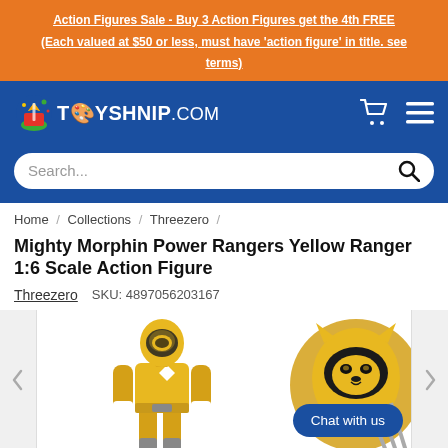Action Figures Sale - Buy 3 Action Figures get the 4th FREE (Each valued at $50 or less, must have 'action figure' in title. see terms)
[Figure (logo): Toyshnip.com logo with colorful toy icon on blue navigation bar with shopping cart and hamburger menu icons]
Search...
Home / Collections / Threezero /
Mighty Morphin Power Rangers Yellow Ranger 1:6 Scale Action Figure
Threezero   SKU: 4897056203167
[Figure (photo): Yellow Power Ranger 1:6 scale action figure shown standing full body in yellow armor suit, with a circular close-up inset of the helmet. Chat with us button overlay in bottom right.]